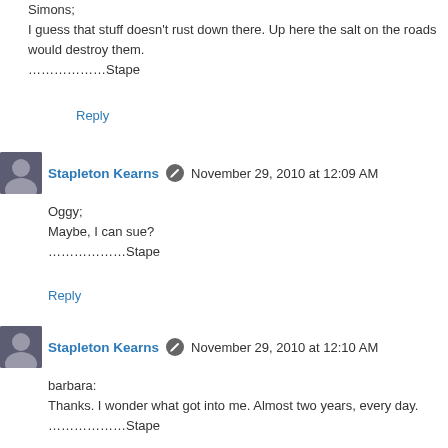Simons;
I guess that stuff doesn't rust down there. Up here the salt on the roads would destroy them.
…………………Stape
Reply
Stapleton Kearns November 29, 2010 at 12:09 AM
Oggy;
Maybe, I can sue?
…………………Stape
Reply
Stapleton Kearns November 29, 2010 at 12:10 AM
barbara:
Thanks. I wonder what got into me. Almost two years, every day.
………………Stape
Reply